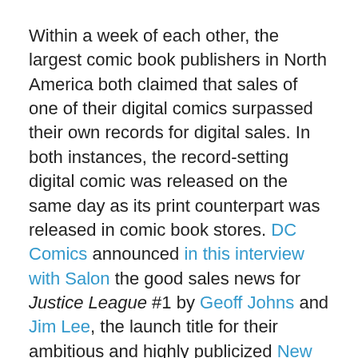Within a week of each other, the largest comic book publishers in North America both claimed that sales of one of their digital comics surpassed their own records for digital sales. In both instances, the record-setting digital comic was released on the same day as its print counterpart was released in comic book stores. DC Comics announced in this interview with Salon the good sales news for Justice League #1 by Geoff Johns and Jim Lee, the launch title for their ambitious and highly publicized New 52 initiative.
Jim Lee: [B]ased on recent numbers, certainly Justice League No. 1 has surpassed the recent highs in comics sales. […] It's also setting records digitally. I can't give numbers, but on the first day it set a record for us.
Salon: Once you compared the volume of DC's digital